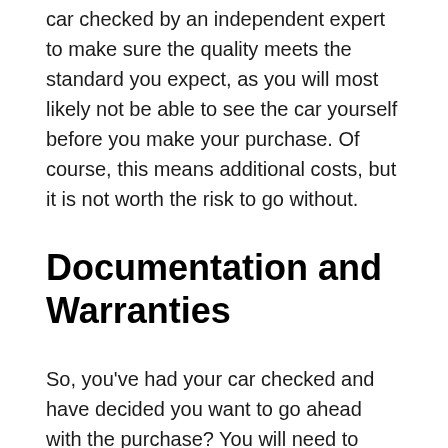car checked by an independent expert to make sure the quality meets the standard you expect, as you will most likely not be able to see the car yourself before you make your purchase. Of course, this means additional costs, but it is not worth the risk to go without.
Documentation and Warranties
So, you've had your car checked and have decided you want to go ahead with the purchase? You will need to complete all the necessary paperwork if you are buying directly from a dealer.
Unfortunately, this often comes with processing fees, so it is important to find out from the seller exactly what this will cost you, as there are many factors that contribute to this cost. Overall, you need to make sure that nothing is hidden